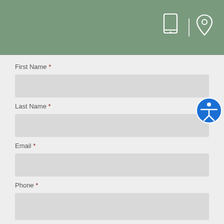[Figure (screenshot): Green header bar with phone/tablet icon and location pin icon in white]
First Name *
Last Name *
Email *
Phone *
Procedure of Interest *
Procedure of Interest (dropdown)